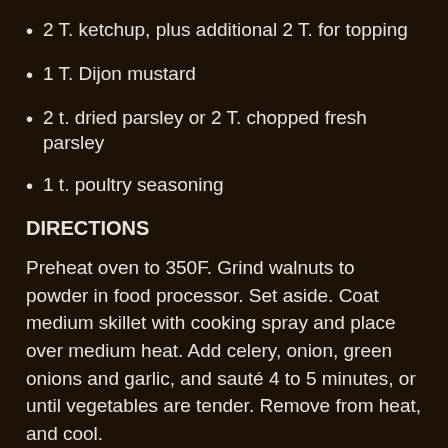2 T. ketchup, plus additional 2 T. for topping
1 T. Dijon mustard
2 t. dried parsley or 2 T. chopped fresh parsley
1 t. poultry seasoning
DIRECTIONS
Preheat oven to 350F. Grind walnuts to powder in food processor. Set aside. Coat medium skillet with cooking spray and place over medium heat. Add celery, onion, green onions and garlic, and sauté 4 to 5 minutes, or until vegetables are tender. Remove from heat, and cool.
Mash tofu in bowl. Stir in walnuts, vegetables, soy crumbles, oats, soy sauce, ketchup, mustard, parsley and poultry seasoning. Season with salt and pepper.